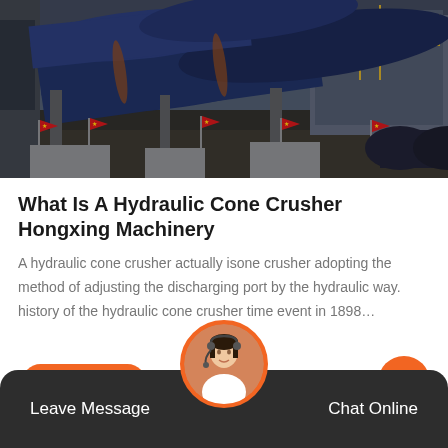[Figure (photo): Industrial machinery photo showing large blue cylindrical drums/rotary kilns mounted on concrete bases at a construction or mining site, with red Chinese flags visible in the foreground and industrial structures in the background.]
What Is A Hydraulic Cone Crusher Hongxing Machinery
A hydraulic cone crusher actually isone crusher adopting the method of adjusting the discharging port by the hydraulic way. history of the hydraulic cone crusher time event in 1898…
Live Chat
Leave Message
Chat Online